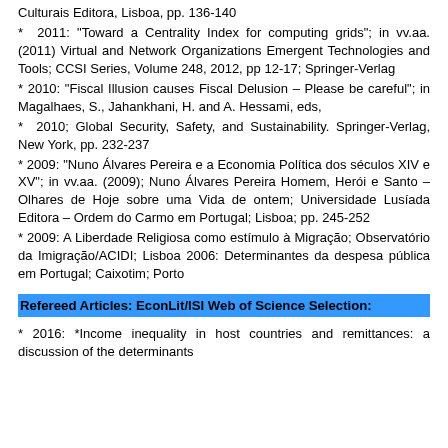Culturais Editora, Lisboa, pp. 136-140
* 2011: "Toward a Centrality Index for computing grids"; in vv.aa. (2011) Virtual and Network Organizations Emergent Technologies and Tools; CCSI Series, Volume 248, 2012, pp 12-17; Springer-Verlag
* 2010: "Fiscal Illusion causes Fiscal Delusion – Please be careful"; in Magalhaes, S., Jahankhani, H. and A. Hessami, eds,
* 2010; Global Security, Safety, and Sustainability. Springer-Verlag, New York, pp. 232-237
* 2009: "Nuno Álvares Pereira e a Economia Política dos séculos XIV e XV"; in vv.aa. (2009); Nuno Álvares Pereira Homem, Herói e Santo – Olhares de Hoje sobre uma Vida de ontem; Universidade Lusíada Editora – Ordem do Carmo em Portugal; Lisboa; pp. 245-252
* 2009: A Liberdade Religiosa como estímulo à Migração; Observatório da Imigração/ACIDI; Lisboa 2006: Determinantes da despesa pública em Portugal; Caixotim; Porto
Refereed Articles: EconLit/ISI Web of Science Selection:
* 2016: *Income inequality in host countries and remittances: a discussion of the determinants